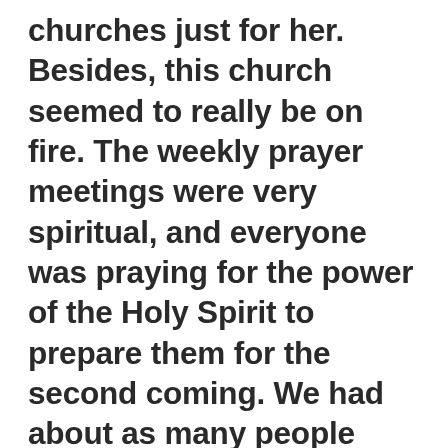churches just for her. Besides, this church seemed to really be on fire. The weekly prayer meetings were very spiritual, and everyone was praying for the power of the Holy Spirit to prepare them for the second coming. We had about as many people attending prayer meeting that attended our Sabbath Worship services. We were sure Jesus was coming soon and we were getting ready. Then